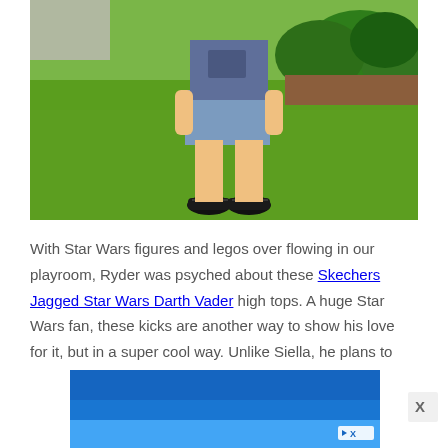[Figure (photo): A boy wearing denim shorts, a Star Wars t-shirt, and black Skechers high-top sneakers standing on a green lawn with shrubs in the background.]
With Star Wars figures and legos over flowing in our playroom, Ryder was psyched about these Skechers Jagged Star Wars Darth Vader high tops. A huge Star Wars fan, these kicks are another way to show his love for it, but in a super cool way. Unlike Siella, he plans to
[Figure (other): Advertisement banner with blue gradient background and a skip/close button.]